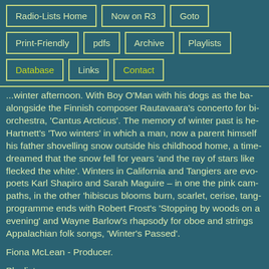Radio-Lists Home
Now on R3
Goto
Print-Friendly
pdfs
Archive
Playlists
Database
Links
Contact
...winter afternoon. With Boy O'Man with his dogs as the ba- alongside the Finnish composer Rautavaara's concerto for bi- orchestra, 'Cantus Arcticus'. The memory of winter past is he- Hartnett's 'Two winters' in which a man, now a parent himself his father shovelling snow outside his childhood home, a time- dreamed that the snow fell for years 'and the ray of stars like flecked the white'. Winters in California and Tangiers are evo- poets Karl Shapiro and Sarah Maguire – in one the pink cam- paths, in the other 'hibiscus blooms burn, scarlet, cerise, tang- programme ends with Robert Frost's 'Stopping by woods on a evening' and Wayne Barlow's rhapsody for oboe and strings Appalachian folk songs, 'Winter's Passed'.
Fiona McLean - Producer.
Playlist.
ALEKSANDER GLAZUNOV